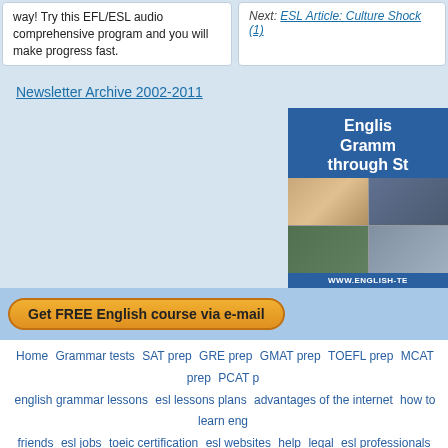way! Try this EFL/ESL audio comprehensive program and you will make progress fast.
Next: ESL Article: Culture Shock (1)
Newsletter Archive 2002-2011
[Figure (advertisement): English Grammar through Stories advertisement banner with photos and URL www.english-t...]
Get FREE English course via e-mail
Home  Grammar tests  SAT prep  GRE prep  GMAT prep  TOEFL prep  MCAT prep  PCAT p  english grammar lessons  esl lessons plans  advantages of the internet  how to learn eng  friends  esl jobs  toeic certification  esl websites  help  legal  esl professionals  abou